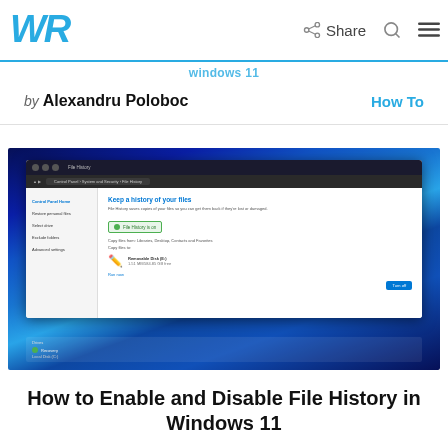WR  Share
Windows 11
by Alexandru Poloboc   How To
[Figure (screenshot): Screenshot of Windows 11 File History settings panel in Control Panel, showing 'Keep a history of your files' dialog with File History turned on (green status indicator), copy files from Libraries, Desktop, Contacts and Favorites options, and a USB drive listed as backup location.]
How to Enable and Disable File History in Windows 11